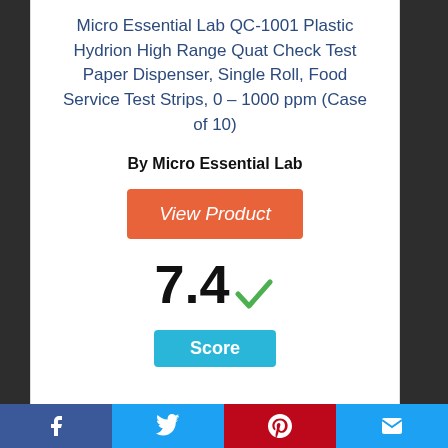Micro Essential Lab QC-1001 Plastic Hydrion High Range Quat Check Test Paper Dispenser, Single Roll, Food Service Test Strips, 0 – 1000 ppm (Case of 10)
By Micro Essential Lab
View Product
7.4 Score
9